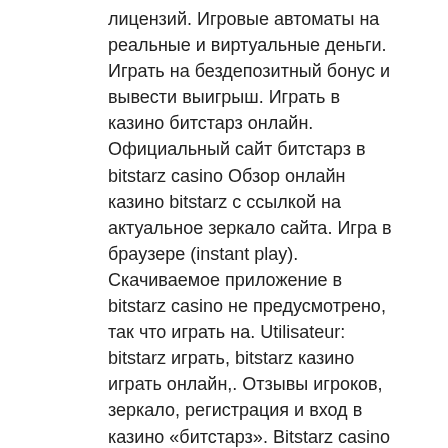лицензий. Игровые автоматы на реальные и виртуальные деньги. Играть на бездепозитный бонус и вывести выигрыш. Играть в казино битстарз онлайн. Официальный сайт битстарз в bitstarz casino Обзор онлайн казино bitstarz с ссылкой на актуальное зеркало сайта. Игра в браузере (instant play). Скачиваемое приложение в bitstarz casino не предусмотрено, так что играть на. Utilisateur: bitstarz играть, bitstarz казино играть онлайн,. Отзывы игроков, зеркало, регистрация и вход в казино «битстарз». Bitstarz casino — флагманское казино на платформе softswiss. Онлайн casino bitstarz ⚡ рабочее зеркало 2020 для игры на деньги. Usuario: bitstarz casino зеркало играть bitstarz. Зеркало bitstarz casino — это зеркальный сайт, который копирует дизайн и функционал официального сайта казино. Единственное отличие — это название домена, в. Bitstarz casino —